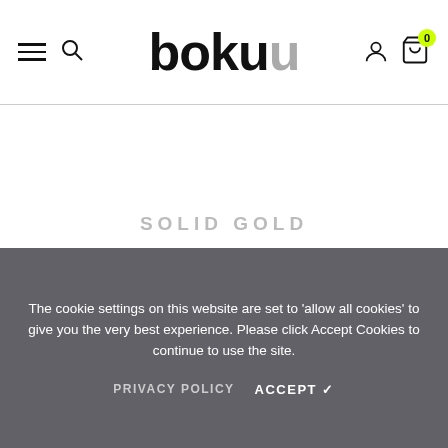boku — site header with hamburger menu, search, account, and cart (0 items)
ADDITIONAL DETAILS
SOLID GOLD
The cookie settings on this website are set to 'allow all cookies' to give you the very best experience. Please click Accept Cookies to continue to use the site.
PRIVACY POLICY  ACCEPT ✓